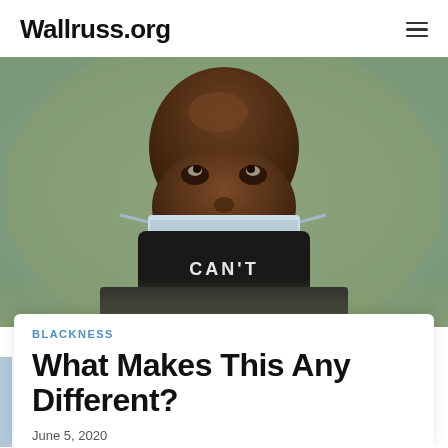Wallruss.org
[Figure (photo): Close-up photo of a Black man wearing a black face mask with text, looking upward. The mask appears to also have a blue medical mask underneath. Background is blurred green/grey outdoor scene.]
BLACKNESS
What Makes This Any Different?
June 5, 2020